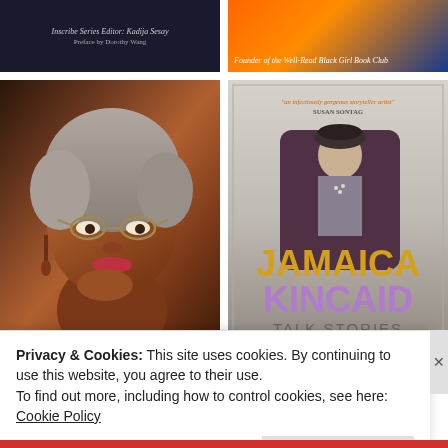[Figure (photo): Top-left book cover: dark background with text 'Inscribe Series Editor: Kadija Sesay' and 'Preface by Dorothy Wang']
[Figure (photo): Top-right book cover: orange and blue background with text 'Founder of the Well-Read Black Girl Book Club']
[Figure (photo): Bottom-left book cover: photo of Lucille Clifton, an elderly Black woman with gray hair and glasses, resting her chin on her hand. Caption reads 'The Collected Poems of Lucille Clifton 1965-2010']
The Collected Poems of Lucille Clifton 1965-2010
[Figure (photo): Bottom-right book cover: Jamaica Kincaid 'Talk Stories'. Shows a young child sitting in a chair. Title text in yellow (JAMAICA) and purple (KINCAID), with subtitle TALK STORIES. Quote by Susan Sontag at top.]
Privacy & Cookies: This site uses cookies. By continuing to use this website, you agree to their use.
To find out more, including how to control cookies, see here: Cookie Policy
Close and accept